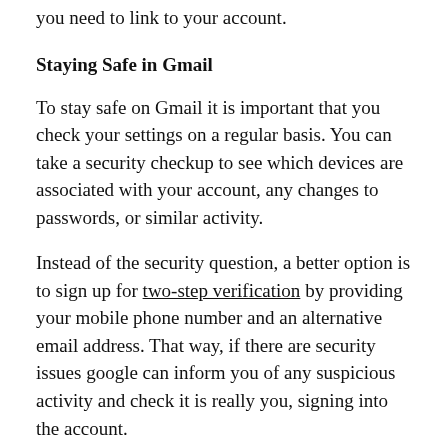you need to link to your account.
Staying Safe in Gmail
To stay safe on Gmail it is important that you check your settings on a regular basis. You can take a security checkup to see which devices are associated with your account, any changes to passwords, or similar activity.
Instead of the security question, a better option is to sign up for two-step verification by providing your mobile phone number and an alternative email address. That way, if there are security issues google can inform you of any suspicious activity and check it is really you, signing into the account.
Many people have now been trying to change the security question in Gmail by simply removing it but